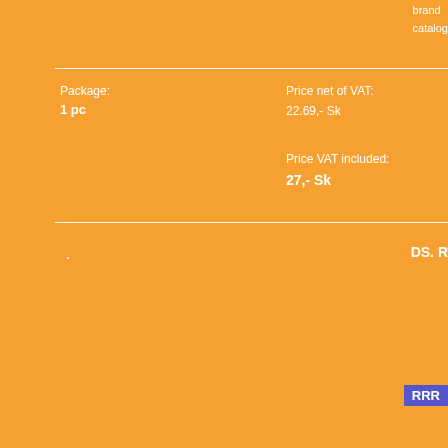brand
catalog
Package:
1 pc
Price net of VAT:
22.69,- Sk
Price VAT included:
27,- Sk
·
DS. R
RRR
in stoc
brand
catalog
Package:
1 pc
Price net of VAT:
20.17,- Sk
Price VAT included:
24,- Sk
·
DS. R
RRR
in stoc
brand